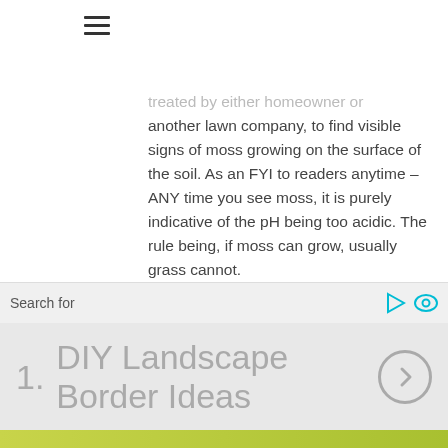[Figure (other): Hamburger menu icon (three horizontal lines)]
treated by either homeowner or another lawn company, to find visible signs of moss growing on the surface of the soil. As an FYI to readers anytime – ANY time you see moss, it is purely indicative of the pH being too acidic. The rule being, if moss can grow, usually grass cannot.
[Figure (other): Circular user avatar/profile placeholder icon in gray]
FRED COOL
March 24, 2012 at 4:08 pm
Search for
1.  DIY Landscape Border Ideas